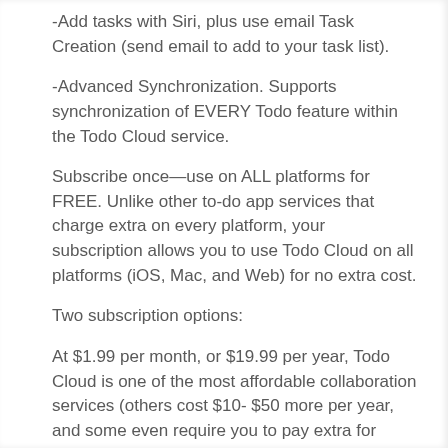-Add tasks with Siri, plus use email Task Creation (send email to add to your task list).
-Advanced Synchronization. Supports synchronization of EVERY Todo feature within the Todo Cloud service.
Subscribe once—use on ALL platforms for FREE. Unlike other to-do app services that charge extra on every platform, your subscription allows you to use Todo Cloud on all platforms (iOS, Mac, and Web) for no extra cost.
Two subscription options:
At $1.99 per month, or $19.99 per year, Todo Cloud is one of the most affordable collaboration services (others cost $10- $50 more per year, and some even require you to pay extra for every platform).